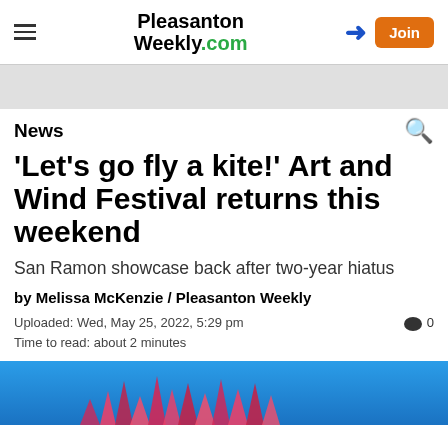Pleasanton Weekly.com — Navigation bar with hamburger menu, logo, login arrow, and Join button
News
'Let's go fly a kite!' Art and Wind Festival returns this weekend
San Ramon showcase back after two-year hiatus
by Melissa McKenzie / Pleasanton Weekly
Uploaded: Wed, May 25, 2022, 5:29 pm
Time to read: about 2 minutes
[Figure (photo): Blue sky background with colorful kite tails or festival decorations visible at the bottom of the image]